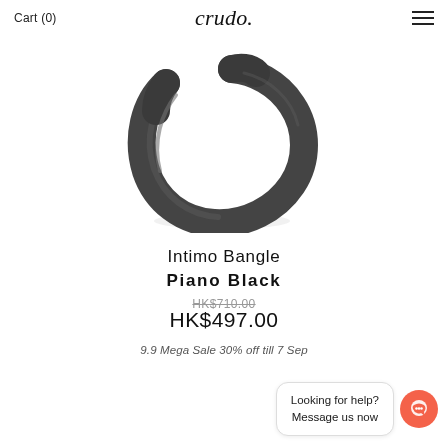Cart (0)  crudo  [hamburger menu]
[Figure (photo): A black piano-finish open cuff bangle bracelet photographed on a white background, showing the curved metal form from a slight angle.]
Intimo Bangle
Piano Black
HK$710.00
HK$497.00
9.9 Mega Sale 30% off till 7 Sep
Looking for help?
Message us now